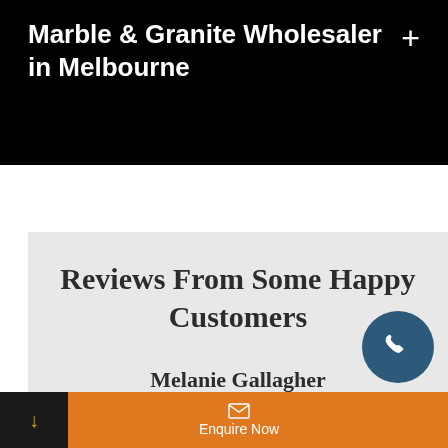Marble & Granite Wholesaler in Melbourne
Reviews From Some Happy Customers
Melanie Gallagher
Thanks Marella Stone for my beautiful kitchen bench tops. We went to see the showroom and Sam patiently showed us all of the
Enquire Now